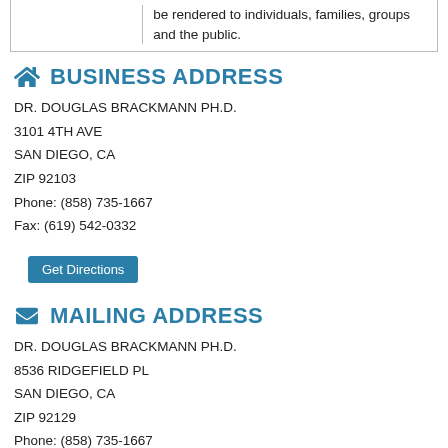| be rendered to individuals, families, groups and the public. |
BUSINESS ADDRESS
DR. DOUGLAS BRACKMANN PH.D.
3101 4TH AVE
SAN DIEGO, CA
ZIP 92103
Phone: (858) 735-1667
Fax: (619) 542-0332
Get Directions
MAILING ADDRESS
DR. DOUGLAS BRACKMANN PH.D.
8536 RIDGEFIELD PL
SAN DIEGO, CA
ZIP 92129
Phone: (858) 735-1667
Fax: (619) 542-0332